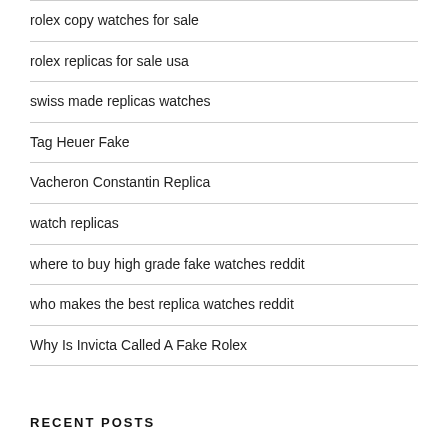rolex copy watches for sale
rolex replicas for sale usa
swiss made replicas watches
Tag Heuer Fake
Vacheron Constantin Replica
watch replicas
where to buy high grade fake watches reddit
who makes the best replica watches reddit
Why Is Invicta Called A Fake Rolex
RECENT POSTS